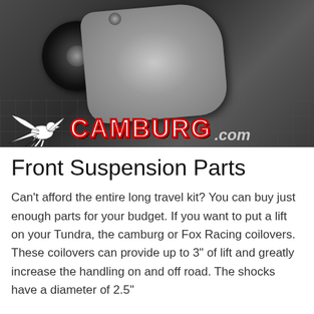[Figure (photo): Photo of a vehicle suspension part (metallic component and black hub/wheel) on a dark grid surface, with the Camburg logo (eagle/firebird silhouette and CAMBURG text in white with red outline, .com in gray italics) overlaid at the bottom.]
Front Suspension Parts
Can't afford the entire long travel kit? You can buy just enough parts for your budget. If you want to put a lift on your Tundra, the camburg or Fox Racing coilovers. These coilovers can provide up to 3" of lift and greatly increase the handling on and off road. The shocks have a diameter of 2.5"